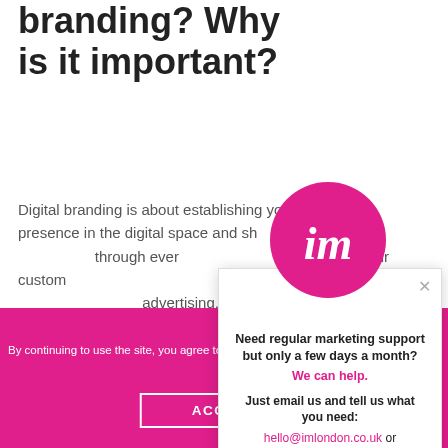branding? Why is it important?
Digital branding is about establishing your brand's presence in the digital space and showing your brand personality through every touchpoint you have with your customers. Think about everything: your website design, your content, your advertising, social media and don't forget traditional forms of marketing. The same principles apply here…
[Figure (logo): Pink circular logo with 'im' text in white italic]
Need regular marketing support but only a few days a month?
We can help.
Just email us and tell us what you need:
hello@imlondon.co.uk or hello@imdubai.ae
By continuing to use the site, you agree to the use of cookies. See our Privacy Policy
ACCEPT